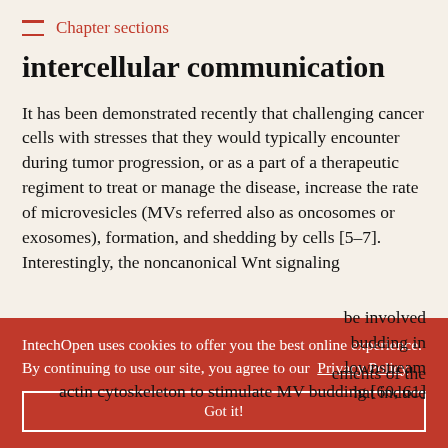Chapter sections
intercellular communication
It has been demonstrated recently that challenging cancer cells with stresses that they would typically encounter during tumor progression, or as a part of a therapeutic regiment to treat or manage the disease, increase the rate of microvesicles (MVs referred also as oncosomes or exosomes), formation, and shedding by cells [5–7]. Interestingly, the noncanonical Wnt signaling ... be involved ... budding in ... downstream ... that induce ... elements of the actin cytoskeleton to stimulate MV budding [60, 61]
IntechOpen uses cookies to offer you the best online experience. By continuing to use our site, you agree to our Privacy Policy
Got it!